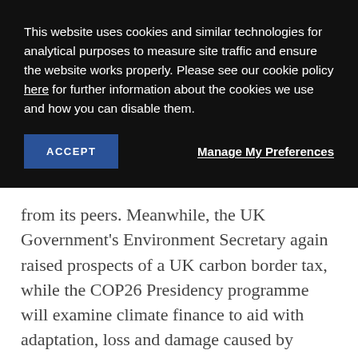This website uses cookies and similar technologies for analytical purposes to measure site traffic and ensure the website works properly. Please see our cookie policy here for further information about the cookies we use and how you can disable them.
ACCEPT
Manage My Preferences
from its peers. Meanwhile, the UK Government's Environment Secretary again raised prospects of a UK carbon border tax, while the COP26 Presidency programme will examine climate finance to aid with adaptation, loss and damage caused by climate change.  Today's...
OLDER